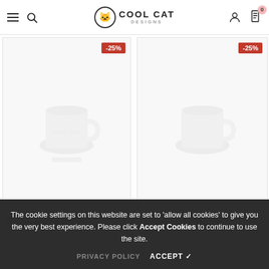Cool Cat Designs — navigation header with hamburger menu, search, logo, user and cart icons
[Figure (screenshot): Product card 1: white rectangle with -25% red badge, showing a Grandpasaurus Rex Mug product with faint mug illustration]
[Figure (screenshot): Product card 2: white rectangle with -25% red badge, showing a Grandpasaurus Rex Mug With product]
Grandpasaurus Rex Mug Old G...
Grandpasaurus Rex Mug With
The cookie settings on this website are set to 'allow all cookies' to give you the very best experience. Please click Accept Cookies to continue to use the site.
PRIVACY POLICY   ACCEPT ✓